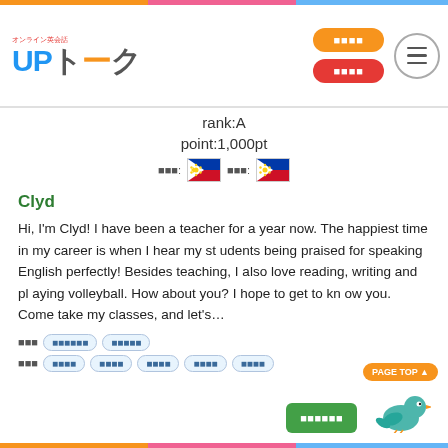UPトーク header with logo, orange buttons, hamburger menu
rank:A
point:1,000pt
[Figure (illustration): Two Philippine flags with Japanese labels]
Clyd
Hi, I'm Clyd! I have been a teacher for a year now. The happiest time in my career is when I hear my students being praised for speaking English perfectly! Besides teaching, I also love reading, writing and playing volleyball. How about you? I hope to get to know you. Come take my classes, and let's…
Tag row 1 with Japanese label and tag buttons
Tag row 2 with Japanese label and tag buttons
[Figure (illustration): PAGE TOP button with teal bird mascot]